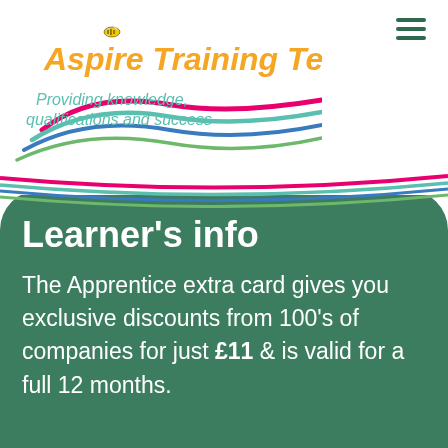[Figure (logo): Aspire Training Team logo with swooping ribbon and bee, with tagline 'Providing knowledge, qualifications and success']
Learner's info
The Apprentice extra card gives you exclusive discounts from 100's of companies for just £11 & is valid for a full 12 months.